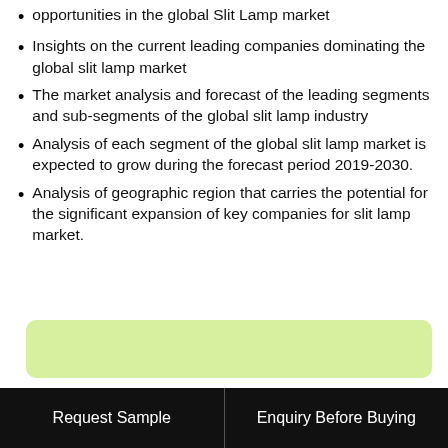opportunities in the global Slit Lamp market
Insights on the current leading companies dominating the global slit lamp market
The market analysis and forecast of the leading segments and sub-segments of the global slit lamp industry
Analysis of each segment of the global slit lamp market is expected to grow during the forecast period 2019-2030.
Analysis of geographic region that carries the potential for the significant expansion of key companies for slit lamp market.
Request Sample | Enquiry Before Buying